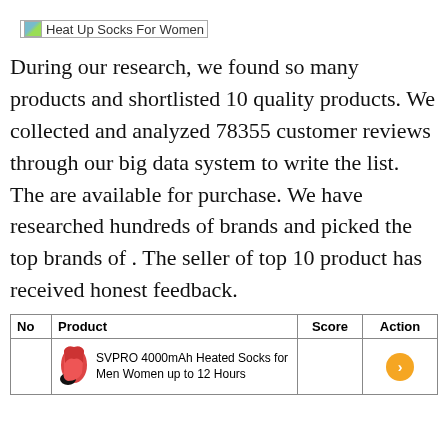[Figure (other): Broken image placeholder with alt text 'Heat Up Socks For Women']
During our research, we found so many products and shortlisted 10 quality products. We collected and analyzed 78355 customer reviews through our big data system to write the list. The are available for purchase. We have researched hundreds of brands and picked the top brands of . The seller of top 10 product has received honest feedback.
| No | Product | Score | Action |
| --- | --- | --- | --- |
|  | SVPRO 4000mAh Heated Socks for Men Women up to 12 Hours |  |  |